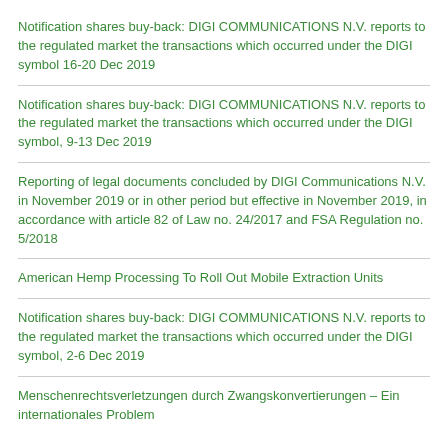Notification shares buy-back: DIGI COMMUNICATIONS N.V. reports to the regulated market the transactions which occurred under the DIGI symbol 16-20 Dec 2019
Notification shares buy-back: DIGI COMMUNICATIONS N.V. reports to the regulated market the transactions which occurred under the DIGI symbol, 9-13 Dec 2019
Reporting of legal documents concluded by DIGI Communications N.V. in November 2019 or in other period but effective in November 2019, in accordance with article 82 of Law no. 24/2017 and FSA Regulation no. 5/2018
American Hemp Processing To Roll Out Mobile Extraction Units
Notification shares buy-back: DIGI COMMUNICATIONS N.V. reports to the regulated market the transactions which occurred under the DIGI symbol, 2-6 Dec 2019
Menschenrechtsverletzungen durch Zwangskonvertierungen – Ein internationales Problem